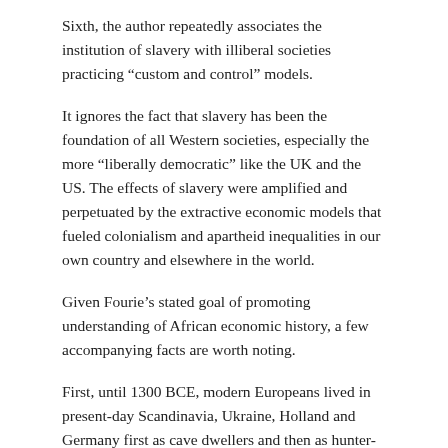Sixth, the author repeatedly associates the institution of slavery with illiberal societies practicing “custom and control” models.
It ignores the fact that slavery has been the foundation of all Western societies, especially the more “liberally democratic” like the UK and the US. The effects of slavery were amplified and perpetuated by the extractive economic models that fueled colonialism and apartheid inequalities in our own country and elsewhere in the world.
Given Fourie’s stated goal of promoting understanding of African economic history, a few accompanying facts are worth noting.
First, until 1300 BCE, modern Europeans lived in present-day Scandinavia, Ukraine, Holland and Germany first as cave dwellers and then as hunter-gatherers, and only after 3500 BCE as farmers.